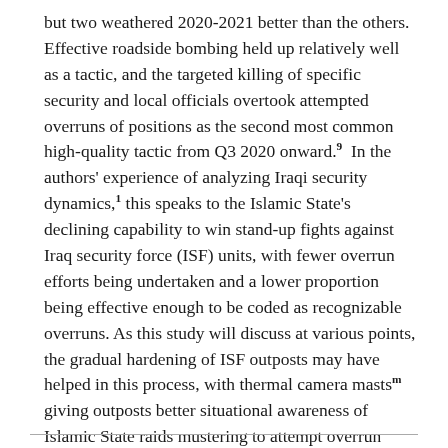but two weathered 2020-2021 better than the others. Effective roadside bombing held up relatively well as a tactic, and the targeted killing of specific security and local officials overtook attempted overruns of positions as the second most common high-quality tactic from Q3 2020 onward.⁹ In the authors' experience of analyzing Iraqi security dynamics,¹ this speaks to the Islamic State's declining capability to win stand-up fights against Iraq security force (ISF) units, with fewer overrun efforts being undertaken and a lower proportion being effective enough to be coded as recognizable overruns. As this study will discuss at various points, the gradual hardening of ISF outposts may have helped in this process, with thermal camera mastsᵐ giving outposts better situational awareness of Islamic State raids mustering to attempt overrun attacks.ⁿ Table 1 in the appendix provides the quarterly national metrics for Islamic State-initiated attacks in Iraq since the beginning of 2018, including across the different categories of high-quality attacks.